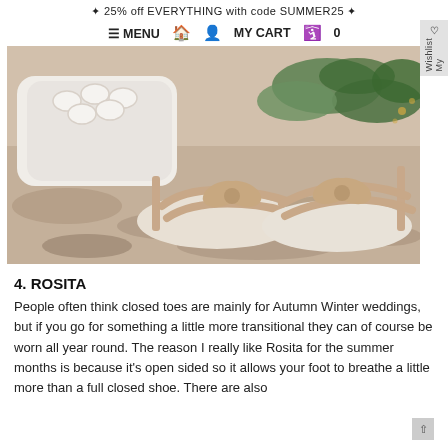✦ 25% off EVERYTHING with code SUMMER25 ✦
≡ MENU  🏠  👤  MY CART  🛒  0
[Figure (photo): Close-up photo of rose gold strappy wedding sandals with bow/flower detail on the toe, placed on a stone/sand surface alongside a white clutch bag with pearl detail and green foliage in the background.]
4. ROSITA
People often think closed toes are mainly for Autumn Winter weddings, but if you go for something a little more transitional they can of course be worn all year round. The reason I really like Rosita for the summer months is because it's open sided so it allows your foot to breathe a little more than a full closed shoe. There are also